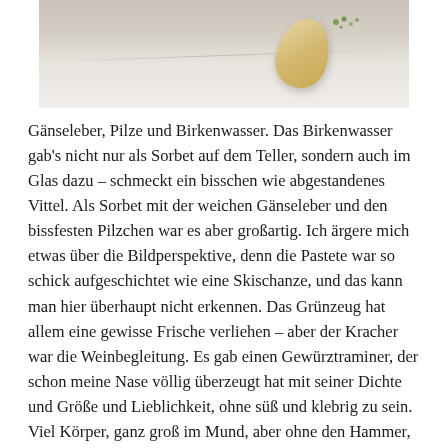[Figure (photo): Partial view of a white plate with a foie gras preparation shaped like a ski jump, with green herb garnish, photographed from above at an angle.]
Gänseleber, Pilze und Birkenwasser. Das Birkenwasser gab's nicht nur als Sorbet auf dem Teller, sondern auch im Glas dazu – schmeckt ein bisschen wie abgestandenes Vittel. Als Sorbet mit der weichen Gänseleber und den bissfesten Pilzchen war es aber großartig. Ich ärgere mich etwas über die Bildperspektive, denn die Pastete war so schick aufgeschichtet wie eine Skischanze, und das kann man hier überhaupt nicht erkennen. Das Grünzeug hat allem eine gewisse Frische verliehen – aber der Kracher war die Weinbegleitung. Es gab einen Gewürztraminer, der schon meine Nase völlig überzeugt hat mit seiner Dichte und Größe und Lieblichkeit, ohne süß und klebrig zu sein. Viel Körper, ganz groß im Mund, aber ohne den Hammer, der den Kopf kleinklöppelt und beim ersten Schluck daran denken lässt, dass man den Wein morgen ganz sicher